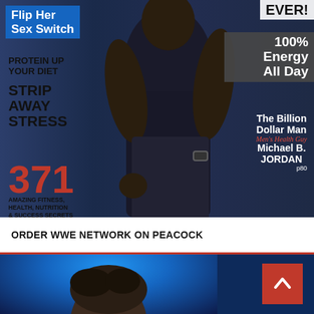[Figure (photo): Men's Health magazine cover featuring Michael B. Jordan in a dark navy sleeveless shirt and jeans, showing muscular build, with various headline overlays]
Flip Her Sex Switch
PROTEIN UP YOUR DIET
STRIP AWAY STRESS
371
AMAZING FITNESS, HEALTH, NUTRITION & SUCCESS SECRETS
EVER!
100% Energy All Day
The Billion Dollar Man Men's Health Guy Michael B. JORDAN p80
ORDER WWE NETWORK ON PEACOCK
[Figure (photo): Bottom portion of page showing a person with dark hair against a blue background, with a red scroll-up button on the right]